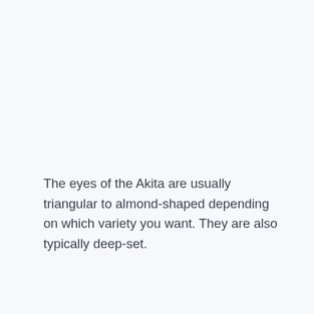The eyes of the Akita are usually triangular to almond-shaped depending on which variety you want. They are also typically deep-set.